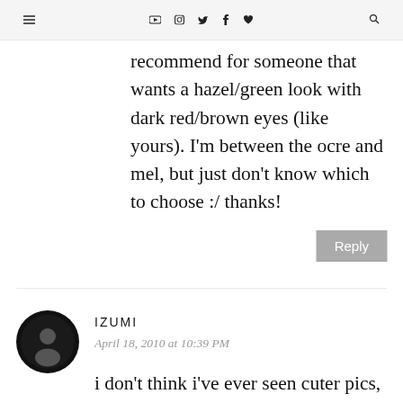≡  ▶ 📷 🐦 f ♥  🔍
recommend for someone that wants a hazel/green look with dark red/brown eyes (like yours). I'm between the ocre and mel, but just don't know which to choose :/ thanks!
Reply
IZUMI
April 18, 2010 at 10:39 PM
i don't think i've ever seen cuter pics, hahaha! these are awesome :D